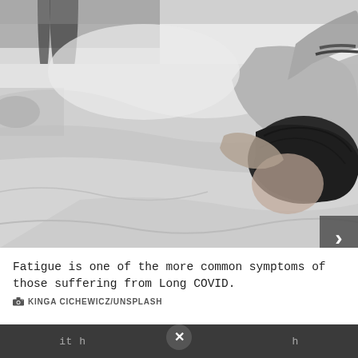[Figure (photo): Black and white photograph of a person with dark hair lying in bed, face down into pillow, covered with white sheets and blankets. A metal bed frame is visible in the background.]
Fatigue is one of the more common symptoms of those suffering from Long COVID.
KINGA CICHEWICZ/UNSPLASH